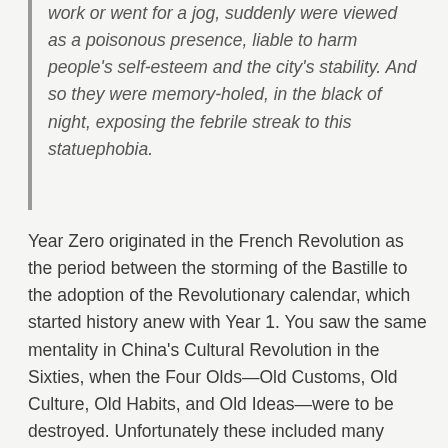work or went for a jog, suddenly were viewed as a poisonous presence, liable to harm people's self-esteem and the city's stability. And so they were memory-holed, in the black of night, exposing the febrile streak to this statuephobia.
Year Zero originated in the French Revolution as the period between the storming of the Bastille to the adoption of the Revolutionary calendar, which started history anew with Year 1. You saw the same mentality in China's Cultural Revolution in the Sixties, when the Four Olds—Old Customs, Old Culture, Old Habits, and Old Ideas—were to be destroyed. Unfortunately these included many irreplaceable Chinese historical artifacts, manuscripts, and of course statues, all of which were deemed reactionary. Even the Ming Emperors were torn